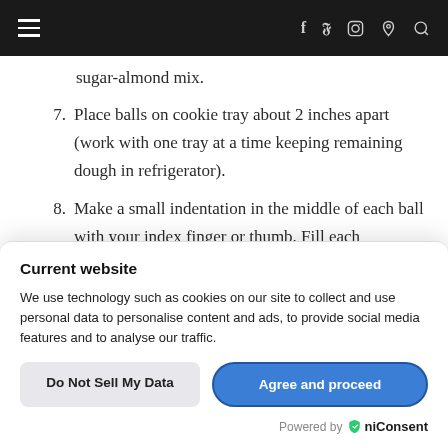Navigation bar with hamburger menu and social icons (f, twitter, instagram, pinterest, search)
sugar-almond mix.
7. Place balls on cookie tray about 2 inches apart (work with one tray at a time keeping remaining dough in refrigerator).
8. Make a small indentation in the middle of each ball with your index finger or thumb. Fill each indentation
Current website
We use technology such as cookies on our site to collect and use personal data to personalise content and ads, to provide social media features and to analyse our traffic.
Do Not Sell My Data  |  Agree and proceed
Powered by OniConsent